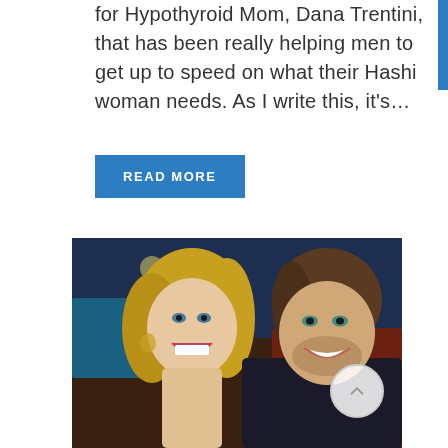for Hypothyroid Mom, Dana Trentini, that has been really helping men to get up to speed on what their Hashi woman needs. As I write this, it's...
READ MORE
[Figure (photo): A smiling couple taking a selfie photo together in what appears to be a restaurant setting. The woman has blonde hair and the man is wearing a dark shirt.]